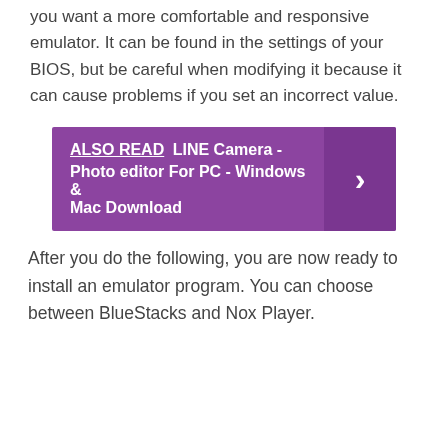you want a more comfortable and responsive emulator. It can be found in the settings of your BIOS, but be careful when modifying it because it can cause problems if you set an incorrect value.
[Figure (infographic): Purple 'ALSO READ' banner box with text 'LINE Camera - Photo editor For PC - Windows & Mac Download' and a right-arrow chevron on the right side]
After you do the following, you are now ready to install an emulator program. You can choose between BlueStacks and Nox Player.